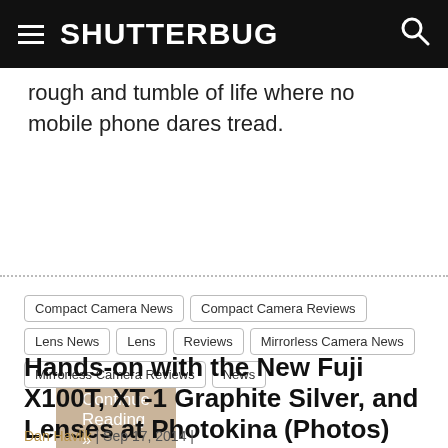SHUTTERBUG
rough and tumble of life where no mobile phone dares tread.
Continue Reading »
Compact Camera News
Compact Camera Reviews
Lens News
Lens Reviews
Mirrorless Camera News
Mirrorless Camera Reviews
News
Hands-on with the New Fuji X100T, XT-1 Graphite Silver, and Lenses at Photokina (Photos)
Dan Havlik  |  Sep 17, 2014  |